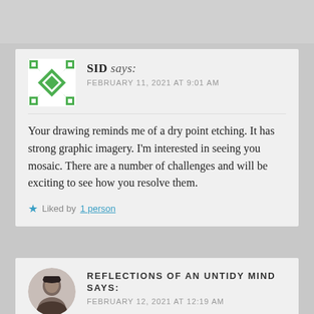SID says: FEBRUARY 11, 2021 AT 9:01 AM
Your drawing reminds me of a dry point etching. It has strong graphic imagery. I'm interested in seeing you mosaic. There are a number of challenges and will be exciting to see how you resolve them.
Liked by 1 person
REFLECTIONS OF AN UNTIDY MIND says: FEBRUARY 12, 2021 AT 12:19 AM